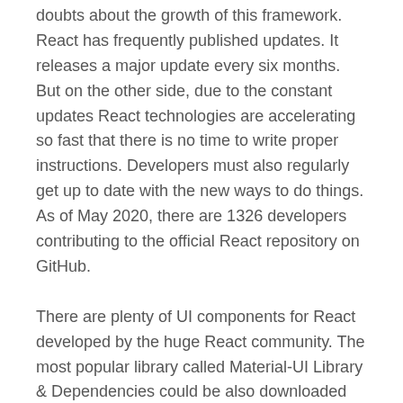doubts about the growth of this framework. React has frequently published updates. It releases a major update every six months. But on the other side, due to the constant updates React technologies are accelerating so fast that there is no time to write proper instructions. Developers must also regularly get up to date with the new ways to do things. As of May 2020, there are 1326 developers contributing to the official React repository on GitHub.
There are plenty of UI components for React developed by the huge React community. The most popular library called Material-UI Library & Dependencies could be also downloaded freely. In version 16.8.0, React has introduced Hooks. It reduces the learning curve for frontend beginners. Moreover, hooks enable developers to adhere to functional programming instead of object-oriented programming. In addition, Facebook has a lot of mentorship programs, tutorials and supportive events.